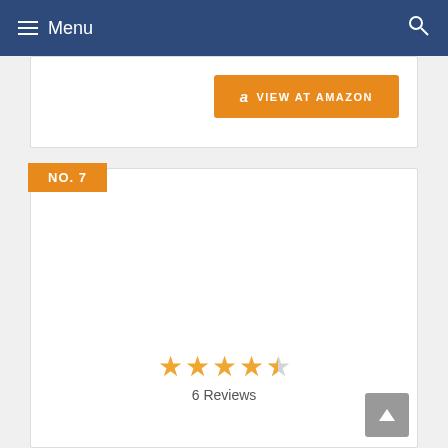Menu
[Figure (other): Partial product card showing VIEW AT AMAZON orange button]
NO. 7
[Figure (other): Product listing card number 7 with star rating and reviews]
6 Reviews